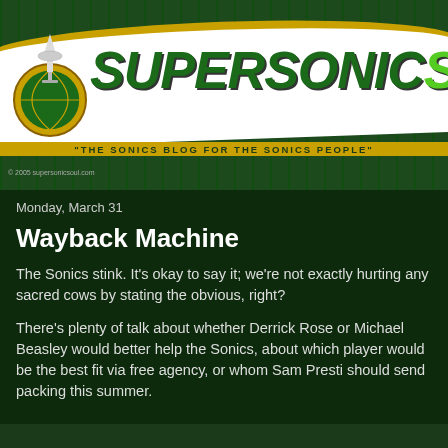[Figure (logo): SupersonicSoul blog banner with Space Needle/basketball logo on left, SUPERSONICSOUL text in green/lime italic font, tagline 'THE SONICS BLOG FOR THE SONICS PEOPLE' on gold stripe at bottom]
Monday, March 31
Wayback Machine
The Sonics stink. It’s okay to say it; we’re not exactly hurting any sacred cows by stating the obvious, right?
There’s plenty of talk about whether Derrick Rose or Michael Beasley would better help the Sonics, about which player would be the best fit via free agency, or whom Sam Presti should send packing this summer.